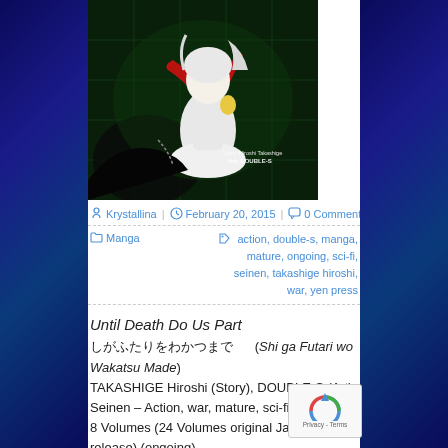[Figure (illustration): Manga cover art for 'Until Death Do Us Part' showing an anime girl with white/silver hair wearing a red scarf and white dress on a green grid background. Text reads 'Story: Hiroshi Takashige Art: DOUBLE-S']
Krystallina | February 20, 2015 | 0 Comments
Manga | action, double-s, manga, mature, ongoing, sci-fi, seinen, takashige hiroshi, war, yen press
Until Death Do Us Part
し が ふ た り を わ か つ ま で (Shi ga Futari wo Wakatsu Made)
TAKASHIGE Hiroshi (Story), DOUBLE-S (Art)
Seinen – Action, war, mature, sci-fi
8 Volumes (24 Volumes original Japanese release) (ongoing)